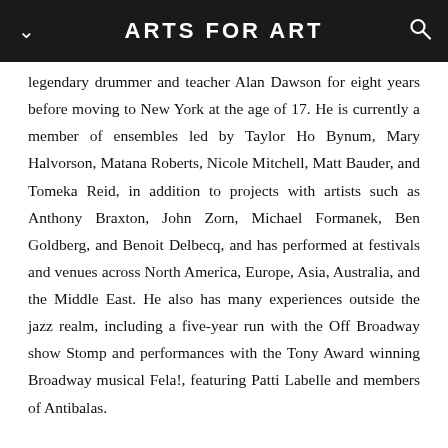ARTS FOR ART
legendary drummer and teacher Alan Dawson for eight years before moving to New York at the age of 17. He is currently a member of ensembles led by Taylor Ho Bynum, Mary Halvorson, Matana Roberts, Nicole Mitchell, Matt Bauder, and Tomeka Reid, in addition to projects with artists such as Anthony Braxton, John Zorn, Michael Formanek, Ben Goldberg, and Benoit Delbecq, and has performed at festivals and venues across North America, Europe, Asia, Australia, and the Middle East. He also has many experiences outside the jazz realm, including a five-year run with the Off Broadway show Stomp and performances with the Tony Award winning Broadway musical Fela!, featuring Patti Labelle and members of Antibalas.